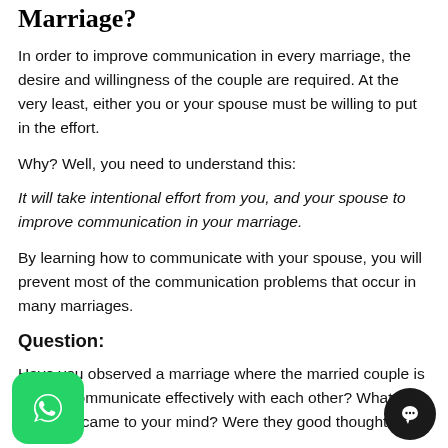Marriage?
In order to improve communication in every marriage, the desire and willingness of the couple are required. At the very least, either you or your spouse must be willing to put in the effort.
Why? Well, you need to understand this:
It will take intentional effort from you, and your spouse to improve communication in your marriage.
Question:
Have you observed a marriage where the married couple is able to communicate effectively with each other? What thoughts came to your mind? Were they good thoughts?
[Figure (logo): WhatsApp green rounded square icon]
[Figure (logo): Dark chat bubble circle icon]